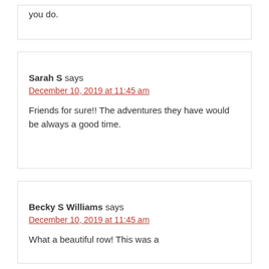you do.
Sarah S says
December 10, 2019 at 11:45 am
Friends for sure!! The adventures they have would be always a good time.
Becky S Williams says
December 10, 2019 at 11:45 am
What a beautiful row! This was a